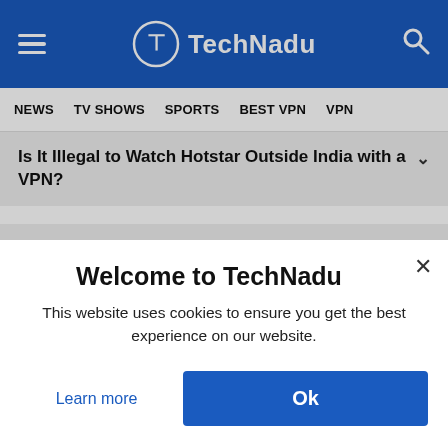TechNadu
NEWS    TV SHOWS    SPORTS    BEST VPN    VPN
Is It Illegal to Watch Hotstar Outside India with a VPN?
Can I Watch Disney+ Hotstar Outside India without a VPN?
How Can I Watch Disney+ Hotstar
Welcome to TechNadu
This website uses cookies to ensure you get the best experience on our website.
Learn more
Ok